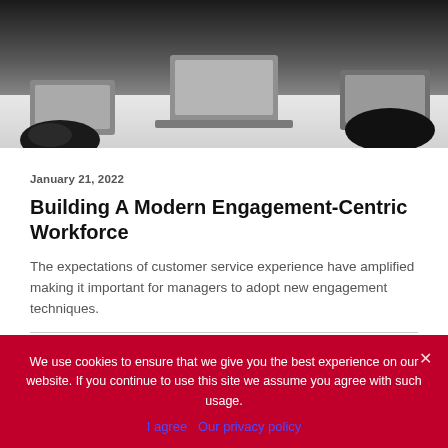[Figure (photo): Photo of people at a meeting table with laptops, viewed from above/side, showing hands and laptops on a white table.]
January 21, 2022
Building A Modern Engagement-Centric Workforce
The expectations of customer service experience have amplified making it important for managers to adopt new engagement techniques.
by Mellissah Smith
We use cookies to ensure that we give you the best experience on our website. If you continue to use this site we assume you agree with such usage.
I agree   Our privacy policy